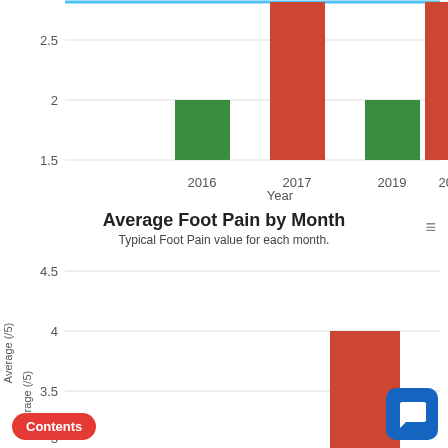[Figure (bar-chart): (partial) Average by Year]
[Figure (bar-chart): Average Foot Pain by Month]